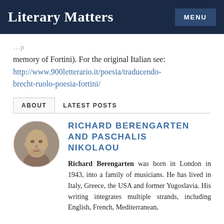Literary Matters  MENU
memory of Fortini). For the original Italian see: http://www.900letterario.it/poesia/traducendo-brecht-ruolo-poesia-fortini/
ABOUT   LATEST POSTS
[Figure (photo): Circular portrait photo of a bald man]
RICHARD BERENGARTEN AND PASCHALIS NIKOLAOU
Richard Berengarten was born in London in 1943, into a family of musicians. He has lived in Italy, Greece, the USA and former Yugoslavia. His writing integrates multiple strands, including English, French, Mediterranean,